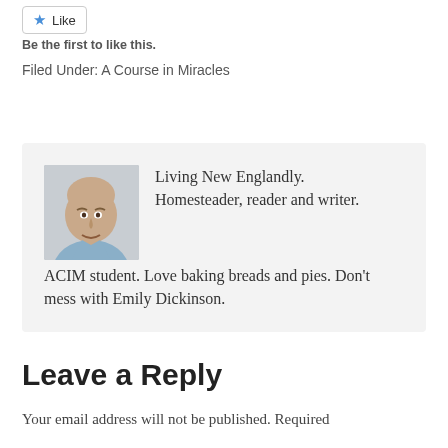[Figure (other): Like button with blue star icon]
Be the first to like this.
Filed Under: A Course in Miracles
[Figure (photo): Author photo: bald man in light blue shirt]
Living New Englandly. Homesteader, reader and writer. ACIM student. Love baking breads and pies. Don't mess with Emily Dickinson.
Leave a Reply
Your email address will not be published. Required